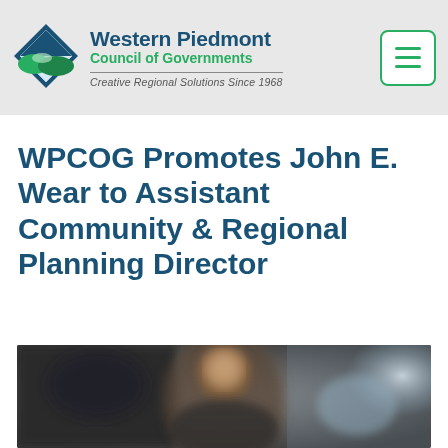Western Piedmont Council of Governments — Creative Regional Solutions Since 1968
WPCOG Promotes John E. Wear to Assistant Community & Regional Planning Director
[Figure (photo): Blurred photograph of a person, likely John E. Wear, indoors with a dark and light background.]